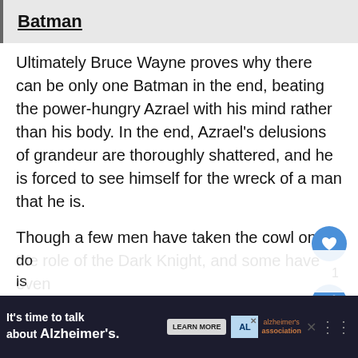Batman
Ultimately Bruce Wayne proves why there can be only one Batman in the end, beating the power-hungry Azrael with his mind rather than his body. In the end, Azrael's delusions of grandeur are thoroughly shattered, and he is forced to see himself for the wreck of a man that he is.
Though a few men have taken the cowl or the role of the Dark Knight, and some have even do... there is...
[Figure (other): Advertisement banner: It's time to talk about Alzheimer's. LEARN MORE button, Alzheimer's Association logo.]